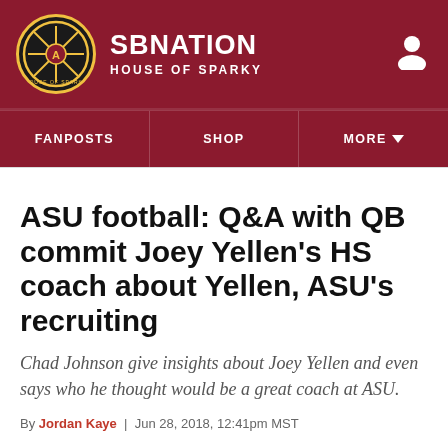SBNATION / HOUSE OF SPARKY
FANPOSTS | SHOP | MORE
ASU football: Q&A with QB commit Joey Yellen’s HS coach about Yellen, ASU’s recruiting
Chad Johnson give insights about Joey Yellen and even says who he thought would be a great coach at ASU.
By Jordan Kaye | Jun 28, 2018, 12:41pm MST